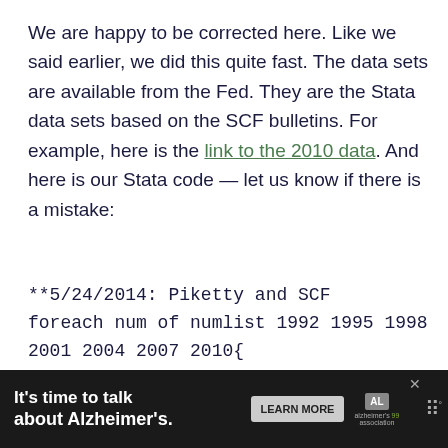We are happy to be corrected here. Like we said earlier, we did this quite fast. The data sets are available from the Fed. They are the Stata data sets based on the SCF bulletins. For example, here is the link to the 2010 data. And here is our Stata code — let us know if there is a mistake:
**5/24/2014: Piketty and SCF
foreach num of numlist 1992 1995 1998 2001 2004 2007 2010{
cd $scf
use rscfp`num', clear
sort YY1
by
xt
[Figure (other): Advertisement banner: 'It's time to talk about Alzheimer's.' with LEARN MORE button and Alzheimer's Association logo]